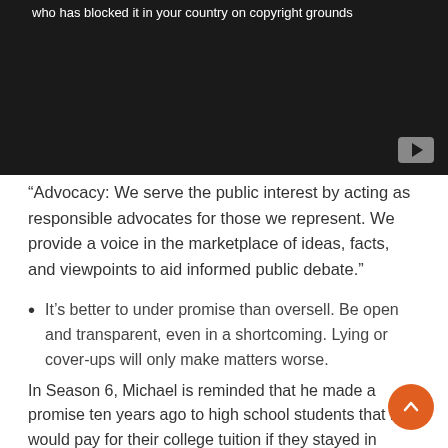[Figure (screenshot): Embedded video player with dark background showing a blocked/unavailable video message at the top and a YouTube play button in the bottom right corner.]
“Advocacy: We serve the public interest by acting as responsible advocates for those we represent. We provide a voice in the marketplace of ideas, facts, and viewpoints to aid informed public debate.”
It’s better to under promise than oversell. Be open and transparent, even in a shortcoming. Lying or cover-ups will only make matters worse.
In Season 6, Michael is reminded that he made a promise ten years ago to high school students that he would pay for their college tuition if they stayed in school. Well, the time had arrived and he could hardly